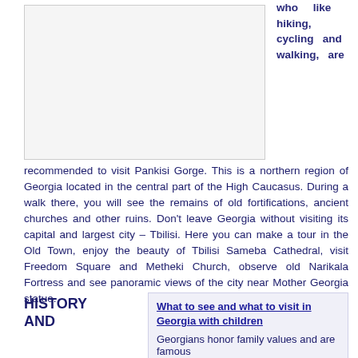[Figure (photo): Image placeholder of Pankisi Gorge or Georgia landscape]
who like hiking, cycling and walking, are
recommended to visit Pankisi Gorge. This is a northern region of Georgia located in the central part of the High Caucasus. During a walk there, you will see the remains of old fortifications, ancient churches and other ruins. Don't leave Georgia without visiting its capital and largest city – Tbilisi. Here you can make a tour in the Old Town, enjoy the beauty of Tbilisi Sameba Cathedral, visit Freedom Square and Metheki Church, observe old Narikala Fortress and see panoramic views of the city near Mother Georgia statue.
HISTORY AND
What to see and what to visit in Georgia with children
Georgians honor family values and are famous